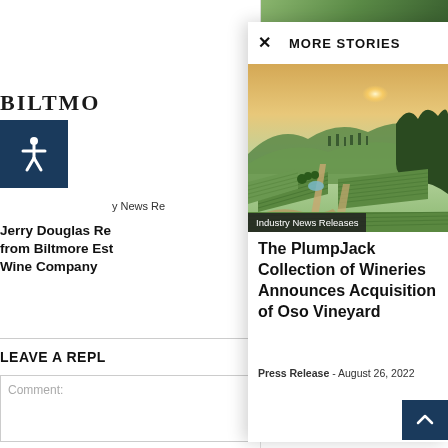BILTMO
y News Re
Jerry Douglas Re from Biltmore Est Wine Company
LEAVE A REPL
Comment:
MORE STORIES
[Figure (photo): Aerial view of a vineyard landscape at sunset with mountains in the background, showing rows of grapevines, winding paths, and a small lake or pond. Tagged: Industry News Releases]
The PlumpJack Collection of Wineries Announces Acquisition of Oso Vineyard
Press Release - August 26, 2022